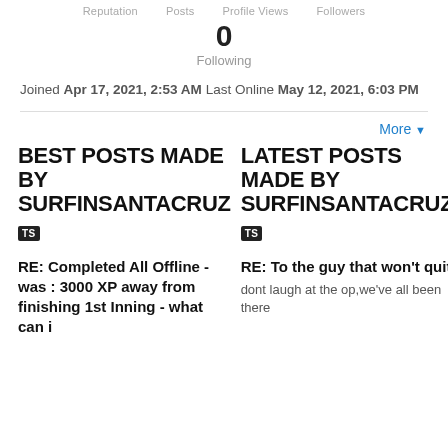Reputation   Posts   Profile Views   Followers
0
Following
Joined Apr 17, 2021, 2:53 AM Last Online May 12, 2021, 6:03 PM
More ▾
BEST POSTS MADE BY SURFINSANTACRUZ
LATEST POSTS MADE BY SURFINSANTACRUZ
TS
TS
RE: Completed All Offline - was : 3000 XP away from finishing 1st Inning - what can i
RE: To the guy that won't quit
dont laugh at the op,we've all been there